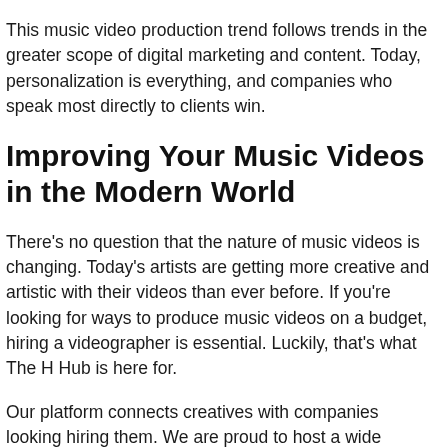This music video production trend follows trends in the greater scope of digital marketing and content. Today, personalization is everything, and companies who speak most directly to clients win.
Improving Your Music Videos in the Modern World
There's no question that the nature of music videos is changing. Today's artists are getting more creative and artistic with their videos than ever before. If you're looking for ways to produce music videos on a budget, hiring a videographer is essential. Luckily, that's what The H Hub is here for.
Our platform connects creatives with companies looking hiring them. We are proud to host a wide selection of